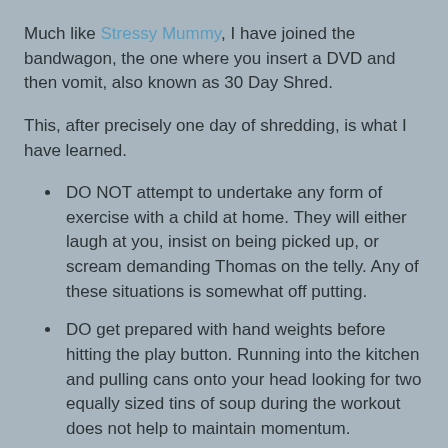Much like Stressy Mummy, I have joined the bandwagon, the one where you insert a DVD and then vomit, also known as 30 Day Shred.
This, after precisely one day of shredding, is what I have learned.
DO NOT attempt to undertake any form of exercise with a child at home. They will either laugh at you, insist on being picked up, or scream demanding Thomas on the telly. Any of these situations is somewhat off putting.
DO get prepared with hand weights before hitting the play button. Running into the kitchen and pulling cans onto your head looking for two equally sized tins of soup during the workout does not help to maintain momentum.
DO NOT attempt to empty the dishwasher